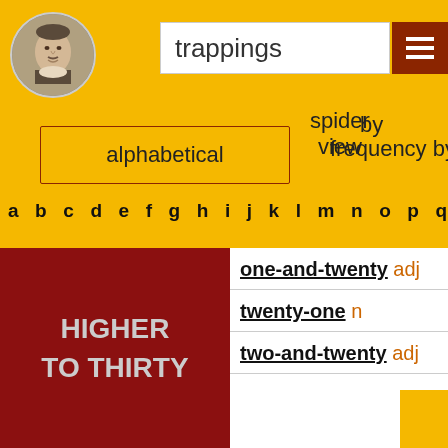[Figure (illustration): Shakespeare portrait in circular frame]
trappings
[Figure (other): Menu/hamburger icon button dark red]
alphabetical
spider view
by frequency
by
a b c d e f g h i j k l m n o p q
HIGHER
TO THIRTY
one-and-twenty adj
twenty-one n
two-and-twenty adj